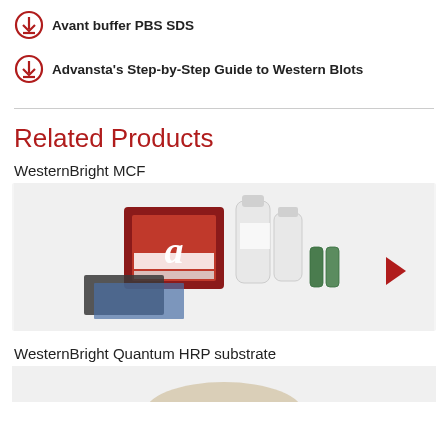Avant buffer PBS SDS
Advansta's Step-by-Step Guide to Western Blots
Related Products
WesternBright MCF
[Figure (photo): WesternBright MCF kit product photo showing a red branded box with Advansta logo, several white bottles, small vials, and a dark membrane piece on a blue film, against a light gray background, with a red right-pointing arrow button on the right side.]
WesternBright Quantum HRP substrate
[Figure (photo): Partial view of WesternBright Quantum HRP substrate product at bottom of page, cropped.]